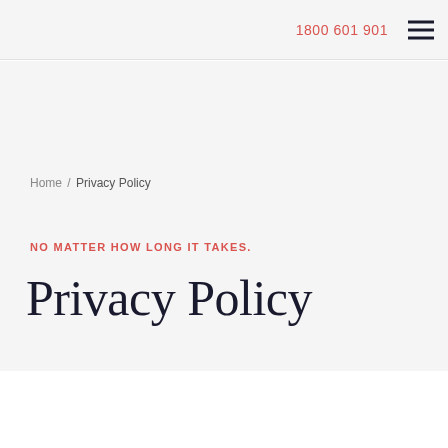1800 601 901
Home / Privacy Policy
NO MATTER HOW LONG IT TAKES.
Privacy Policy